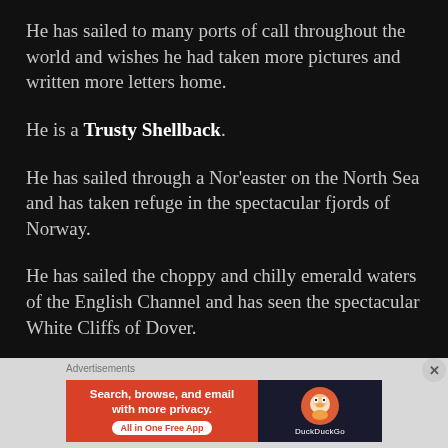He has sailed to many ports of call throughout the world and wishes he had taken more pictures and written more letters home.
He is a Trusty Shellback.
He has sailed through a Nor'easter on the North Sea and has taken refuge in the spectacular fjords of Norway.
He has sailed the choppy and chilly emerald waters of the English Channel and has seen the spectacular White Cliffs of Dover.
[Figure (other): DuckDuckGo advertisement banner with orange left panel 'Search, browse, and email with more privacy. All in One Free App' and dark right panel with DuckDuckGo duck logo]